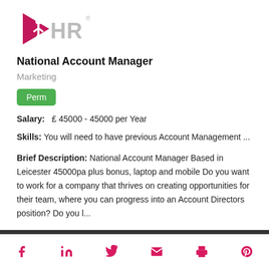[Figure (logo): OHR logo with pink triangle and figure, grey HR text with registered trademark symbol]
National Account Manager
Marketing
Perm
Salary:   £ 45000 - 45000 per Year
Skills: You will need to have previous Account Management ...
Brief Description: National Account Manager Based in Leicester 45000pa plus bonus, laptop and mobile Do you want to work for a company that thrives on creating opportunities for their team, where you can progress into an Account Directors position? Do you l...
Social icons: Facebook, LinkedIn, Twitter, Email, Print, Pinterest